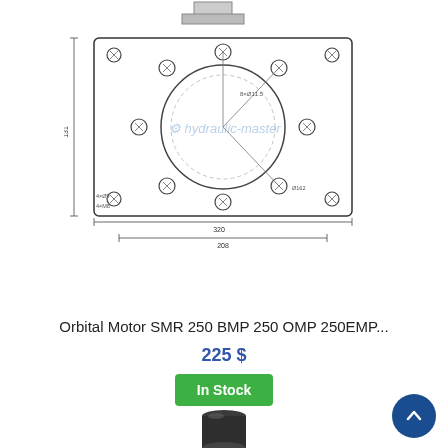[Figure (engineering-diagram): Technical drawing of an orbital motor flange/mounting plate showing top view with bolt hole pattern, large central bore circle, dimension lines and annotations including 'hydraulic-master' watermark. Dimensions shown: overall width ~320, bolt circle diameter labeled, hole positions marked.]
Orbital Motor SMR 250 BMP 250 OMP 250EMP...
225 $
In Stock
[Figure (photo): Partial view of a black cylindrical hydraulic motor component at bottom of page.]